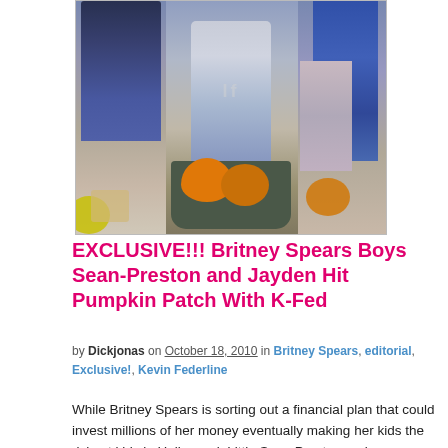[Figure (photo): Composite photo of Britney Spears' boys Sean-Preston and Jayden at a pumpkin patch with Kevin Federline, children with pumpkins in a wheelbarrow]
EXCLUSIVE!!! Britney Spears Boys Sean-Preston and Jayden Hit Pumpkin Patch With K-Fed
by Dickjonas on October 18, 2010 in Britney Spears, editorial, Exclusive!, Kevin Federline
While Britney Spears is sorting out a financial plan that could invest millions of her money eventually making her kids the richest kids in Hollywood, Little Sean Preston and